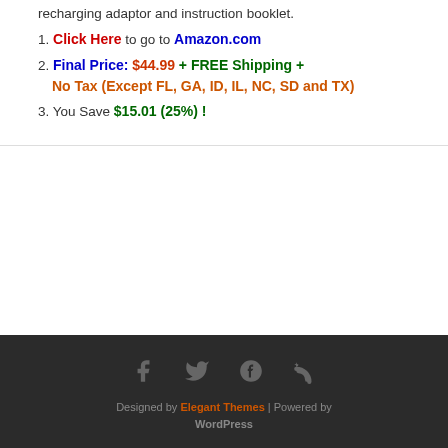recharging adaptor and instruction booklet.
1. Click Here to go to Amazon.com
2. Final Price: $44.99 + FREE Shipping + No Tax (Except FL, GA, ID, IL, NC, SD and TX)
3. You Save $15.01 (25%) !
Designed by Elegant Themes | Powered by WordPress